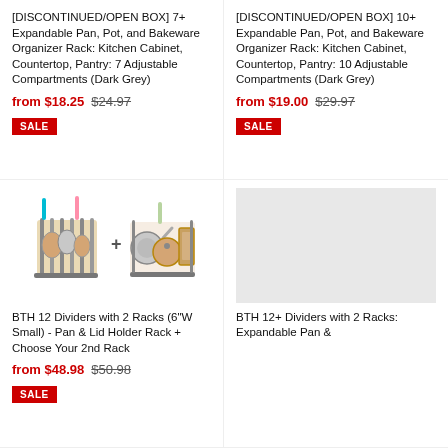[DISCONTINUED/OPEN BOX] 7+ Expandable Pan, Pot, and Bakeware Organizer Rack: Kitchen Cabinet, Countertop, Pantry: 7 Adjustable Compartments (Dark Grey)
from $18.25  $24.97
SALE
[DISCONTINUED/OPEN BOX] 10+ Expandable Pan, Pot, and Bakeware Organizer Rack: Kitchen Cabinet, Countertop, Pantry: 10 Adjustable Compartments (Dark Grey)
from $19.00  $29.97
SALE
[Figure (photo): Product image showing BTH 12 Dividers with 2 Racks - a pan and lid holder rack set with handles visible in teal and pastel colors]
BTH 12 Dividers with 2 Racks (6"W Small) - Pan & Lid Holder Rack + Choose Your 2nd Rack
from $48.98  $50.98
SALE
[Figure (photo): Placeholder grey image for BTH 12+ Dividers with 2 Racks product]
BTH 12+ Dividers with 2 Racks: Expandable Pan &